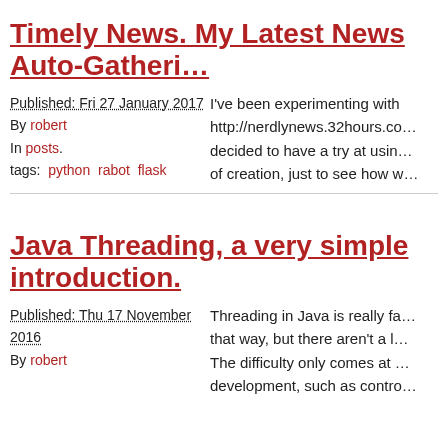Timely News. My Latest News Auto-Gatheri…
Published: Fri 27 January 2017
By robert
In posts.
tags: python rabot flask
I've been experimenting with http://nerdlynews.32hours.co… decided to have a try at usin… of creation, just to see how w…
Java Threading, a very simple introduction.
Published: Thu 17 November 2016
By robert
Threading in Java is really fa… that way, but there aren't a l… The difficulty only comes at … development, such as contro…